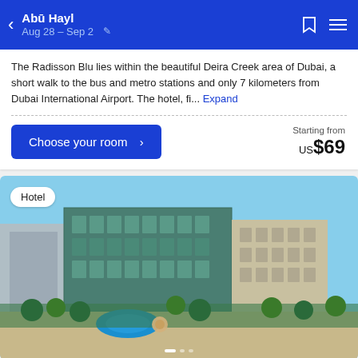Abū Hayl  Aug 28 – Sep 2
The Radisson Blu lies within the beautiful Deira Creek area of Dubai, a short walk to the bus and metro stations and only 7 kilometers from Dubai International Airport. The hotel, fi... Expand
Choose your room >  Starting from US$69
[Figure (photo): Aerial view of Millennium Airport Hotel Dubai showing a large modern green-glass hotel building with outdoor pool area, palm trees, and courtyard in Deira, Dubai]
Hotel
Millennium Airport Hotel Dubai
Deira, Dubai
8.0  7259 reviews